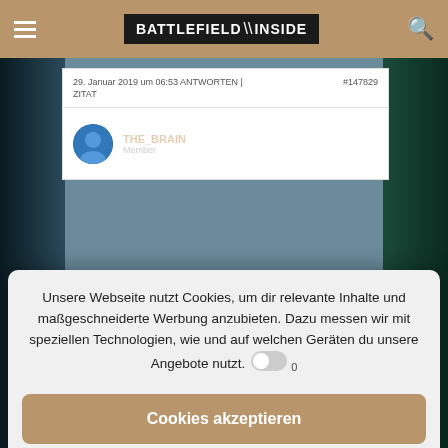BATTLEFIELD INSIDE
29. Januar 2019 um 06:53ANTWORTEN | ZITAT    #147829
Unsere Webseite nutzt Cookies, um dir relevante Inhalte und maßgeschneiderte Werbung anzubieten. Dazu messen wir mit speziellen Technologien, wie und auf welchen Geräten du unsere Angebote nutzt.
Cookies akzeptieren
Einstellungen
Rolf Schnabel